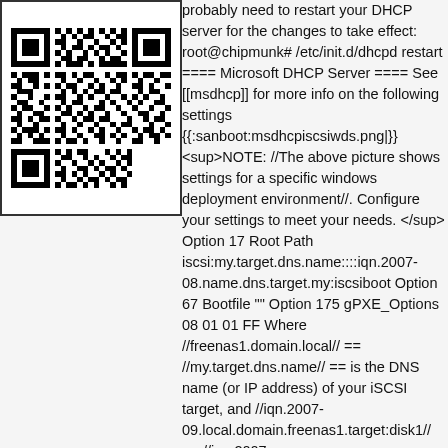[Figure (other): QR code image in top-left corner]
probably need to restart your DHCP server for the changes to take effect: root@chipmunk# /etc/init.d/dhcpd restart ==== Microsoft DHCP Server ==== See [[msdhcp]] for more info on the following settings {{:sanboot:msdhcpiscsiwds.png|}} <sup>NOTE: //The above picture shows settings for a specific windows deployment environment//. Configure your settings to meet your needs.</sup> Option 17 Root Path iscsi:my.target.dns.name::::iqn.2007-08.name.dns.target.my:iscsiboot Option 67 Bootfile "" Option 175 gPXE_Options 08 01 01 FF Where //freenas1.domain.local// == //my.target.dns.name// == is the DNS name (or IP address) of your iSCSI target, and //iqn.2007-09.local.domain.freenas1.target:disk1// == //iqn.2007-08.name.dns.target.my:iscsiboot// == the iSCSI target IQN that you wish to boot from.\ See [[/pxechaining#using_the_windows_dhcp_server|PXE Chaining]] for the two //Option 67// entries pictured above, if your **not** using